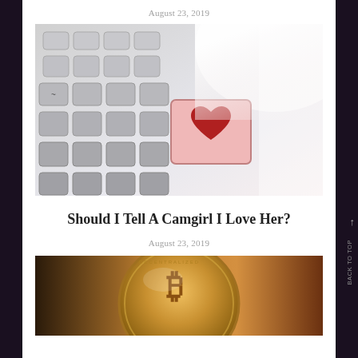August 23, 2019
[Figure (photo): Close-up photo of a keyboard with a pink key featuring a red heart symbol]
Should I Tell A Camgirl I Love Her?
August 23, 2019
[Figure (photo): Close-up photo of a gold Bitcoin coin]